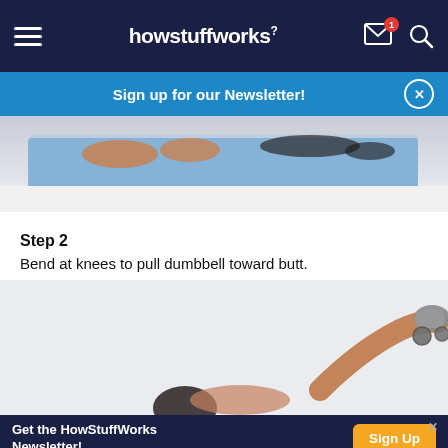howstuffworks
Sign up for our Newsletter!
[Figure (photo): Top portion of a person lying on a blue exercise mat, showing legs and feet from knees down, viewed from the side.]
Step 2
Bend at knees to pull dumbbell toward butt.
[Figure (photo): Person performing a dumbbell leg curl exercise, lying face down. Legs bent at knees with dumbbell visible between feet, viewed from below.]
Get the HowStuffWorks Newsletter!
Sign Up